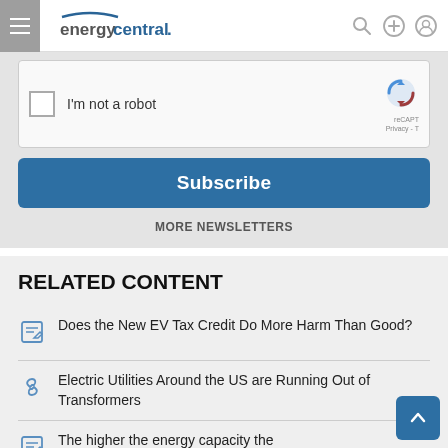energycentral.
[Figure (screenshot): reCAPTCHA 'I'm not a robot' checkbox widget]
Subscribe
MORE NEWSLETTERS
RELATED CONTENT
Does the New EV Tax Credit Do More Harm Than Good?
Electric Utilities Around the US are Running Out of Transformers
The higher the energy capacity the